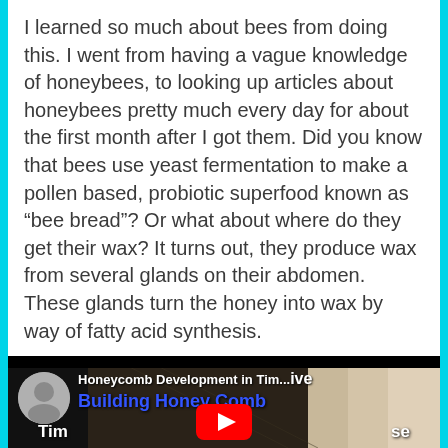I learned so much about bees from doing this. I went from having a vague knowledge of honeybees, to looking up articles about honeybees pretty much every day for about the first month after I got them. Did you know that bees use yeast fermentation to make a pollen based, probiotic superfood known as “bee bread”? Or what about where do they get their wax? It turns out, they produce wax from several glands on their abdomen. These glands turn the honey into wax by way of fatty acid synthesis.
[Figure (screenshot): YouTube video thumbnail showing 'Honeycomb Development in Tim...lve: Building Honey Comb Timelapse' with YouTube play button, channel icon on left, background showing honeycomb/hive imagery]